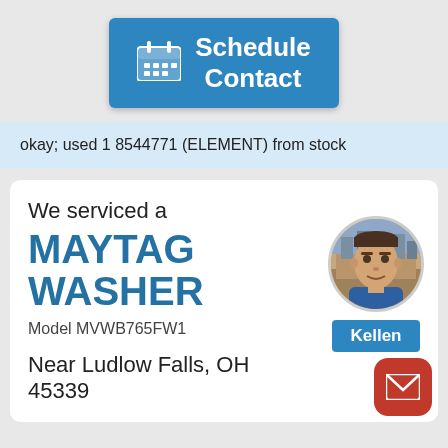[Figure (other): Blue 'Schedule Contact' button with calendar icon]
okay; used 1 8544771 (ELEMENT) from stock
We serviced a
MAYTAG WASHER
Model MVWB765FW1
[Figure (photo): Circular profile photo of technician named Kellen]
Kellen
Near Ludlow Falls, OH 45339
[Figure (other): Red rounded square mail/envelope button]